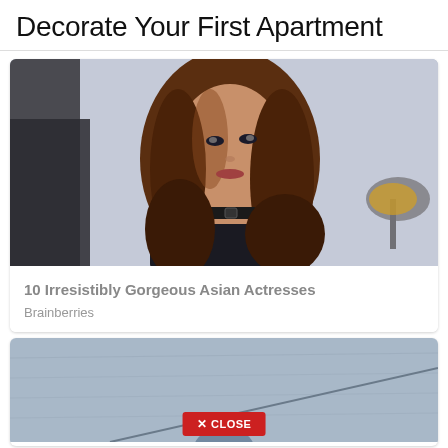Decorate Your First Apartment
[Figure (photo): Woman with long brown hair wearing a black choker necklace, looking over her shoulder in a stylized photo shoot setting]
10 Irresistibly Gorgeous Asian Actresses
Brainberries
[Figure (photo): Light blue textured surface (possibly leather or fabric) with a diagonal line, and a red CLOSE button overlay at the bottom]